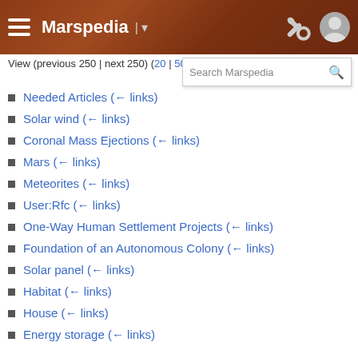Marspedia
View (previous 250 | next 250) (20 | 50 | 100 | 250 | 500)
Needed Articles  (← links)
Solar wind  (← links)
Coronal Mass Ejections  (← links)
Mars  (← links)
Meteorites  (← links)
User:Rfc  (← links)
One-Way Human Settlement Projects  (← links)
Foundation of an Autonomous Colony  (← links)
Solar panel  (← links)
Habitat  (← links)
House  (← links)
Energy storage  (← links)
Energy  (← links)
Colony (redirect page)  (← links)
Solar wind  (← links)
Equipment for autonomous growth  (← links)